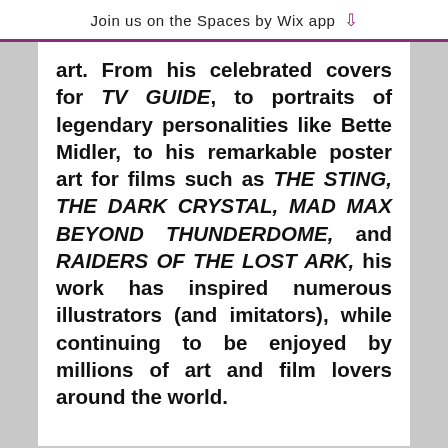Join us on the Spaces by Wix app ↓
art. From his celebrated covers for TV GUIDE, to portraits of legendary personalities like Bette Midler, to his remarkable poster art for films such as THE STING, THE DARK CRYSTAL, MAD MAX BEYOND THUNDERDOME, and RAIDERS OF THE LOST ARK, his work has inspired numerous illustrators (and imitators), while continuing to be enjoyed by millions of art and film lovers around the world.